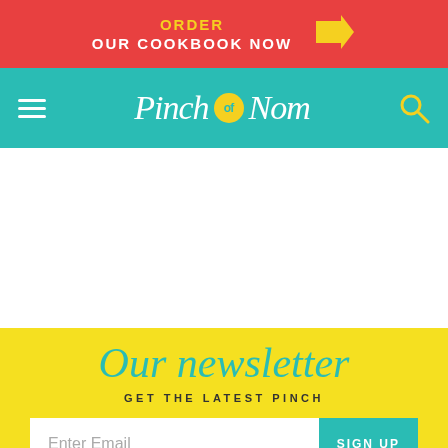ORDER OUR COOKBOOK NOW →
[Figure (logo): Pinch of Nom logo with hamburger menu and search icon on teal navigation bar]
Our newsletter
GET THE LATEST PINCH
Enter Email  SIGN UP